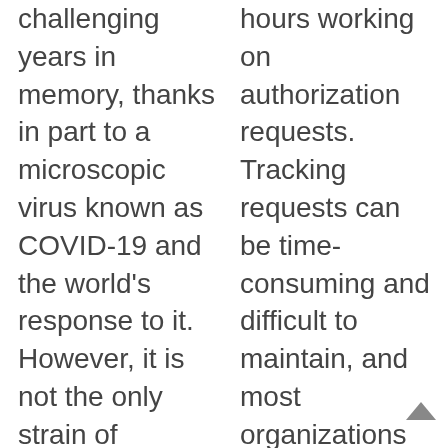challenging years in memory, thanks in part to a microscopic virus known as COVID-19 and the world's response to it. However, it is not the only strain of ... Keep Reading
hours working on authorization requests. Tracking requests can be time-consuming and difficult to maintain, and most organizations have unfortunately experienced large write-offs that come with missing or late authorizations. Meticulous ... Keep Reading